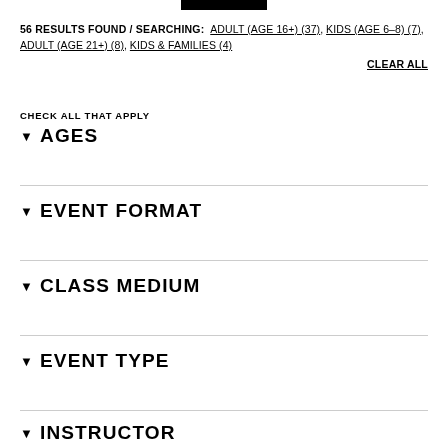[Figure (other): Black bar at top of page, partial header element]
56 RESULTS FOUND / SEARCHING: ADULT (AGE 16+) (37), KIDS (AGE 6–8) (7), ADULT (AGE 21+) (8), KIDS & FAMILIES (4) CLEAR ALL
CHECK ALL THAT APPLY
▾ AGES
▾ EVENT FORMAT
▾ CLASS MEDIUM
▾ EVENT TYPE
▾ INSTRUCTOR